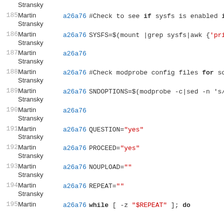| Line | Author | Commit | Code |
| --- | --- | --- | --- |
| 185 | Martin Stransky | a26a76 | #Check to see if sysfs is enabled in |
| 186 | Martin Stransky | a26a76 | SYSFS=$(mount |grep sysfs|awk {'prin |
| 187 | Martin Stransky | a26a76 |  |
| 188 | Martin Stransky | a26a76 | #Check modprobe config files for sou |
| 189 | Martin Stransky | a26a76 | SNDOPTIONS=$(modprobe -c|sed -n 's/^ |
| 190 | Martin Stransky | a26a76 |  |
| 191 | Martin Stransky | a26a76 | QUESTION="yes" |
| 192 | Martin Stransky | a26a76 | PROCEED="yes" |
| 193 | Martin Stransky | a26a76 | NOUPLOAD="" |
| 194 | Martin Stransky | a26a76 | REPEAT="" |
| 195 | Martin Stransky | a26a76 | while [ -z "$REPEAT" ]; do |